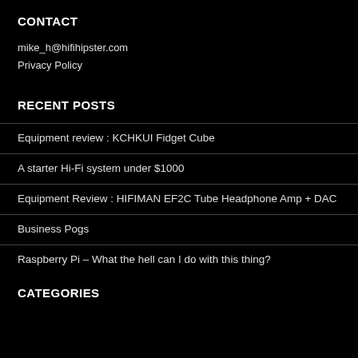CONTACT
mike_h@hifihipster.com
Privacy Policy
RECENT POSTS
Equipment review : KCHKUI Fidget Cube
A starter Hi-Fi system under $1000
Equipment Review : HIFIMAN EF2C Tube Headphone Amp + DAC
Business Pogs
Raspberry Pi – What the hell can I do with this thing?
CATEGORIES